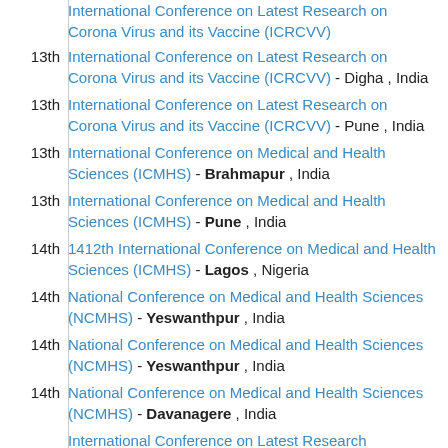13th International Conference on Latest Research on Corona Virus and its Vaccine (ICRCVV) - Digha , India
13th International Conference on Latest Research on Corona Virus and its Vaccine (ICRCVV) - Pune , India
13th International Conference on Medical and Health Sciences (ICMHS) - Brahmapur , India
13th International Conference on Medical and Health Sciences (ICMHS) - Pune , India
14th 1412th International Conference on Medical and Health Sciences (ICMHS) - Lagos , Nigeria
14th National Conference on Medical and Health Sciences (NCMHS) - Yeswanthpur , India
14th National Conference on Medical and Health Sciences (NCMHS) - Yeswanthpur , India
14th National Conference on Medical and Health Sciences (NCMHS) - Davanagere , India
International Conference on Latest Research